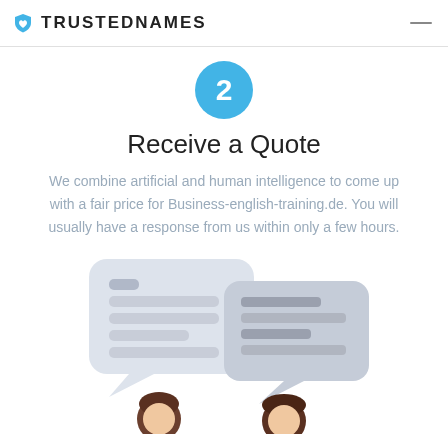TRUSTEDNAMES
[Figure (illustration): Blue shield/heart logo icon for TrustedNames brand]
[Figure (infographic): Blue circle with white number 2 inside, representing step 2]
Receive a Quote
We combine artificial and human intelligence to come up with a fair price for Business-english-training.de. You will usually have a response from us within only a few hours.
[Figure (illustration): Two speech bubbles with horizontal line patterns representing chat, and two person head icons below them]